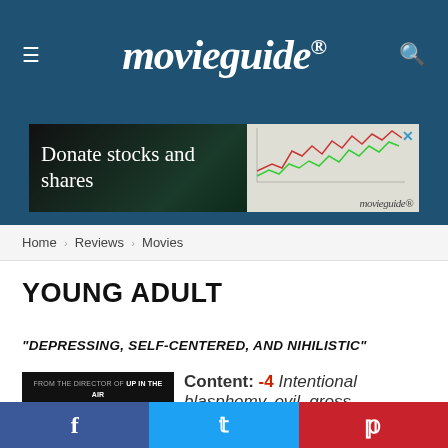movieguide®
[Figure (other): Advertisement banner: 'Donate stocks and shares' with stock chart graphic and movieguide logo]
Home › Reviews › Movies
YOUNG ADULT
"DEPRESSING, SELF-CENTERED, AND NIHILISTIC"
[Figure (photo): Movie poster for Young Adult: 'From the director of UP IN THE AIR and the writer of JUNO' with partial image of character]
Content: -4  Intentional blasphemy, evil, gross